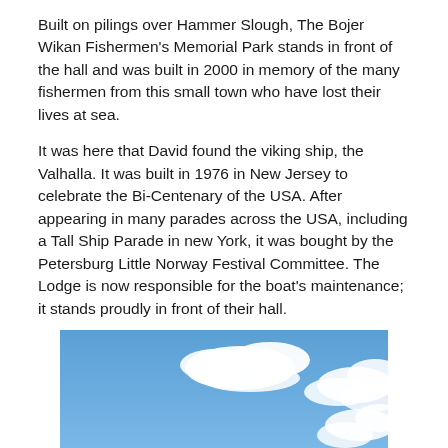Built on pilings over Hammer Slough, The Bojer Wikan Fishermen's Memorial Park stands in front of the hall and was built in 2000 in memory of the many fishermen from this small town who have lost their lives at sea.
It was here that David found the viking ship, the Valhalla. It was built in 1976 in New Jersey to celebrate the Bi-Centenary of the USA. After appearing in many parades across the USA, including a Tall Ship Parade in new York, it was bought by the Petersburg Little Norway Festival Committee. The Lodge is now responsible for the boat's maintenance; it stands proudly in front of their hall.
[Figure (photo): Photograph showing a blue sky with white clouds, partial view of an outdoor scene.]